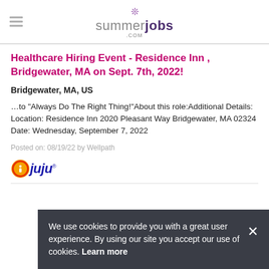summerjobs.com
Healthcare Hiring Event - Residence Inn , Bridgewater, MA on Sept. 7th, 2022!
Bridgewater, MA, US
...to "Always Do The Right Thing!"About this role:Additional Details: Location: Residence Inn 2020 Pleasant Way Bridgewater, MA 02324 Date: Wednesday, September 7, 2022
Posted on: 08/19/22 by Wellpath
[Figure (logo): Juju job search logo with orange and red circular icon with letter i, and blue italic text 'juju' with trademark symbol]
We use cookies to provide you with a great user experience. By using our site you accept our use of cookies. Learn more